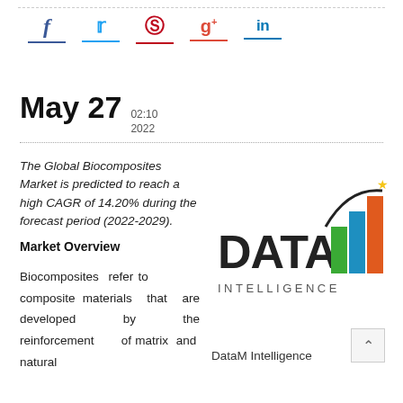[Figure (infographic): Social media sharing icons: Facebook (blue), Twitter (blue), Pinterest (red), Google+ (red), LinkedIn (blue), each with colored underline]
May 27  02:10 2022
The Global Biocomposites Market is predicted to reach a high CAGR of 14.20% during the forecast period (2022-2029).

Market Overview

Biocomposites refer to composite materials that are developed by the reinforcement of matrix and natural
[Figure (logo): DataM Intelligence logo: bold DATA text with colored bar chart (green, blue, orange-red bars) and arc with gold star, INTELLIGENCE text below]
DataM Intelligence